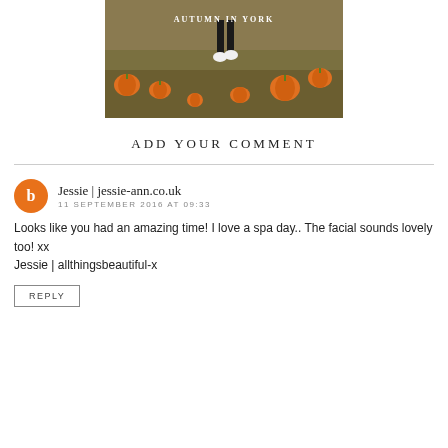[Figure (photo): A person standing in a pumpkin patch with pumpkins scattered on the ground, text overlay reads 'AUTUMN IN YORK']
ADD YOUR COMMENT
Jessie | jessie-ann.co.uk
11 SEPTEMBER 2016 AT 09:33
Looks like you had an amazing time! I love a spa day.. The facial sounds lovely too! xx
Jessie | allthingsbeautiful-x
REPLY